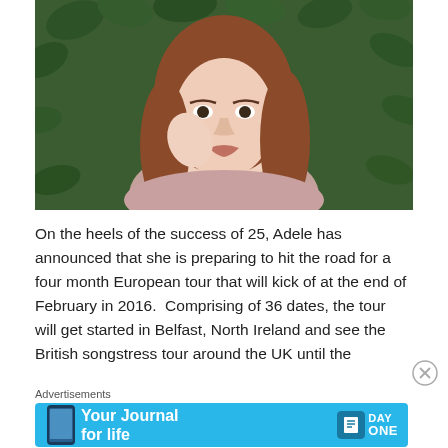[Figure (photo): Portrait photo of a woman with long auburn hair wearing a pink top, posed with hand near face against a dark leafy green background]
On the heels of the success of 25, Adele has announced that she is preparing to hit the road for a four month European tour that will kick of at the end of February in 2016.  Comprising of 36 dates, the tour will get started in Belfast, North Ireland and see the British songstress tour around the UK until the
Advertisements
[Figure (screenshot): Advertisement banner for Day One app - Your Journal for life, light blue background with phone mockup image]